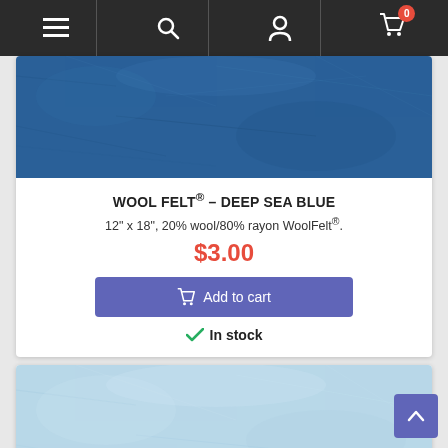Navigation bar with menu, search, account, and cart (0 items) icons
[Figure (photo): Deep sea blue wool felt fabric texture, close-up showing fibrous surface in dark blue color]
WOOL FELT® – DEEP SEA BLUE
12" x 18", 20% wool/80% rayon WoolFelt®.
$3.00
Add to cart
In stock
[Figure (photo): Light blue wool felt fabric texture, close-up showing fibrous surface in pale/light blue color]